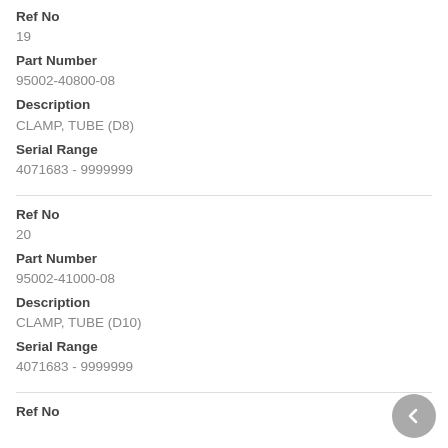Ref No
19
Part Number
95002-40800-08
Description
CLAMP, TUBE (D8)
Serial Range
4071683 - 9999999
Ref No
20
Part Number
95002-41000-08
Description
CLAMP, TUBE (D10)
Serial Range
4071683 - 9999999
Ref No